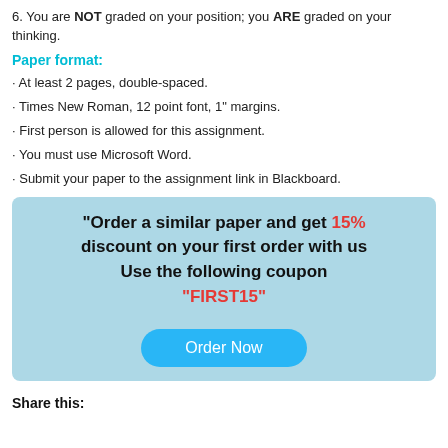6. You are NOT graded on your position; you ARE graded on your thinking.
Paper format:
· At least 2 pages, double-spaced.
· Times New Roman, 12 point font, 1" margins.
· First person is allowed for this assignment.
· You must use Microsoft Word.
· Submit your paper to the assignment link in Blackboard.
[Figure (infographic): Promotional box with light blue background. Text: 'Order a similar paper and get 15% discount on your first order with us Use the following coupon "FIRST15"'. Button labeled 'Order Now'.]
Share this: